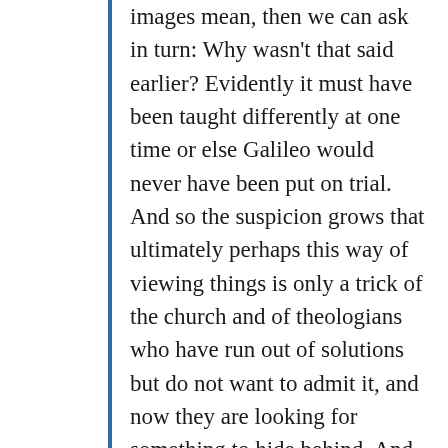images mean, then we can ask in turn: Why wasn't that said earlier? Evidently it must have been taught differently at one time or else Galileo would never have been put on trial. And so the suspicion grows that ultimately perhaps this way of viewing things is only a trick of the church and of theologians who have run out of solutions but do not want to admit it, and now they are looking for something to hide behind. And on the whole the impression is given that the history of Christianity in the last four hundred years has been a constant rearguard action as the assertions of the faith and of theology have been